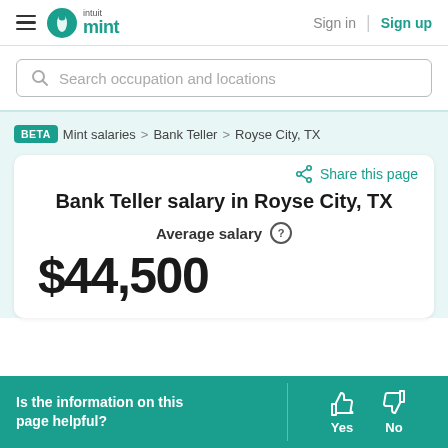Intuit Mint — Sign in | Sign up
Search occupation and locations
BETA  Mint salaries > Bank Teller > Royse City, TX
Share this page
Bank Teller salary in Royse City, TX
Average salary
$44,500
Is the information on this page helpful?  Yes  No